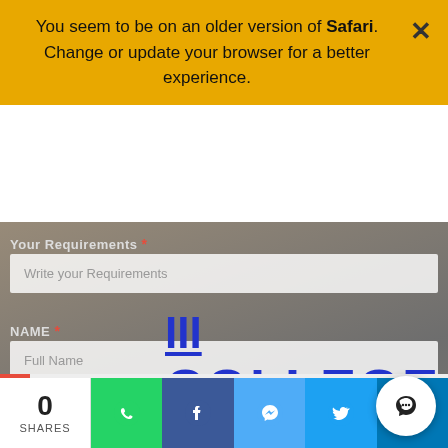You seem to be on an older version of Safari. Change or update your browser for a better experience.
[Figure (screenshot): Blurred background photo of a desk with a laptop and study materials, overlaid with a college admissions form with fields for Requirements, Name, and Email.]
COLLEGE / INSTITUTE
Your Requirements *
Write your Requirements
NAME *
Full Name
Email *
Enter your email Id here
0 SHARES